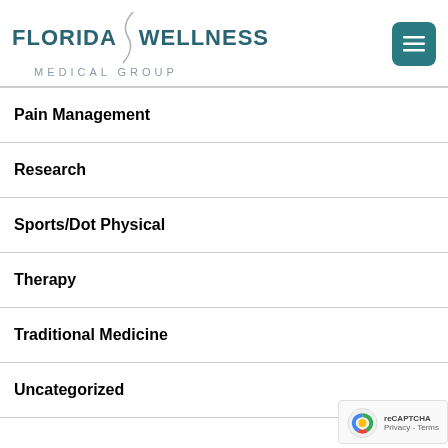[Figure (logo): Florida Wellness Medical Group logo with teal text and decorative swoosh divider]
Pain Management
Research
Sports/Dot Physical
Therapy
Traditional Medicine
Uncategorized